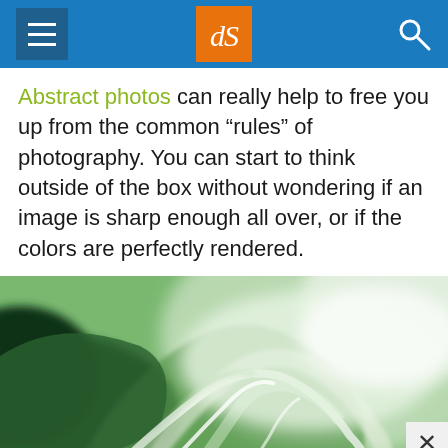dPS (Digital Photography School) navigation header
Abstract photos can really help to free you up from the common “rules” of photography. You can start to think outside of the box without wondering if an image is sharp enough all over, or if the colors are perfectly rendered.
[Figure (photo): Close-up abstract macro photograph of a green leaf or plant with soft focus, showing translucent veins and curves against a blurred green and white background]